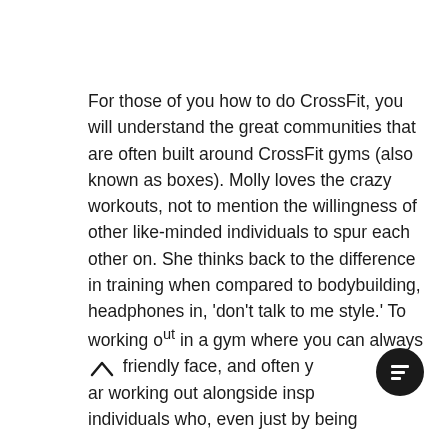For those of you how to do CrossFit, you will understand the great communities that are often built around CrossFit gyms (also known as boxes). Molly loves the crazy workouts, not to mention the willingness of other like-minded individuals to spur each other on. She thinks back to the difference in training when compared to bodybuilding, headphones in, 'don't talk to me style.' To working out in a gym where you can always friendly face, and often y are working out alongside insp individuals who, even just by being